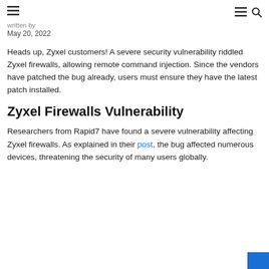☰  ☰ 🔍
written by
May 20, 2022
Heads up, Zyxel customers! A severe security vulnerability riddled Zyxel firewalls, allowing remote command injection. Since the vendors have patched the bug already, users must ensure they have the latest patch installed.
Zyxel Firewalls Vulnerability
Researchers from Rapid7 have found a severe vulnerability affecting Zyxel firewalls. As explained in their post, the bug affected numerous devices, threatening the security of many users globally.